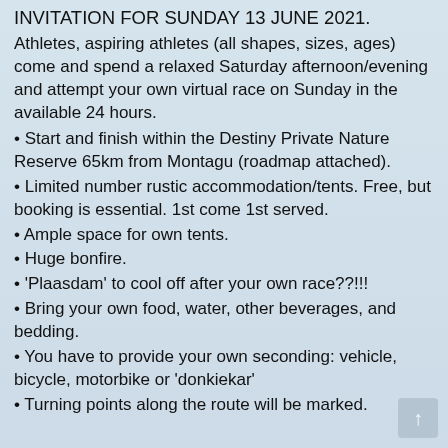INVITATION FOR SUNDAY 13 JUNE 2021.
Athletes, aspiring athletes (all shapes, sizes, ages) come and spend a relaxed Saturday afternoon/evening and attempt your own virtual race on Sunday in the available 24 hours.
• Start and finish within the Destiny Private Nature Reserve 65km from Montagu (roadmap attached).
• Limited number rustic accommodation/tents. Free, but booking is essential. 1st come 1st served.
• Ample space for own tents.
• Huge bonfire.
• 'Plaasdam' to cool off after your own race??!!!
• Bring your own food, water, other beverages, and bedding.
• You have to provide your own seconding: vehicle, bicycle, motorbike or 'donkiekar'
• Turning points along the route will be marked.